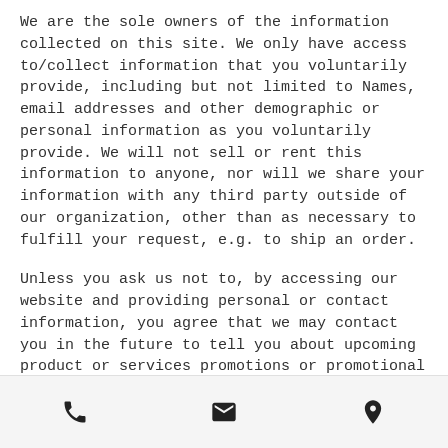We are the sole owners of the information collected on this site. We only have access to/collect information that you voluntarily provide, including but not limited to Names, email addresses and other demographic or personal information as you voluntarily provide. We will not sell or rent this information to anyone, nor will we share your information with any third party outside of our organization, other than as necessary to fulfill your request, e.g. to ship an order.
Unless you ask us not to, by accessing our website and providing personal or contact information, you agree that we may contact you in the future to tell you about upcoming product or services promotions or promotional events, or to notify you of any changes to this privacy policy.
Your Access to and Control Over Information
[Figure (other): Bottom navigation bar with phone, email, and location icons]